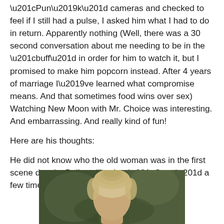“Pun’k” cameras and checked to feel if I still had a pulse, I asked him what I had to do in return. Apparently nothing (Well, there was a 30 second conversation about me needing to be in the “buff” in order for him to watch it, but I promised to make him popcorn instead. After 4 years of marriage I’ve learned what compromise means. And that sometimes food wins over sex) Watching New Moon with Mr. Choice was interesting. And embarrassing. And really kind of fun!
Here are his thoughts:
He did not know who the old woman was in the first scene despite Bella calling her “Gram” a few times
[Figure (photo): Partial photo of an older woman with light blonde/gray hair pulled back, photographed outdoors with a blurred green background. Only the top of her head and forehead are visible at the bottom of the page.]